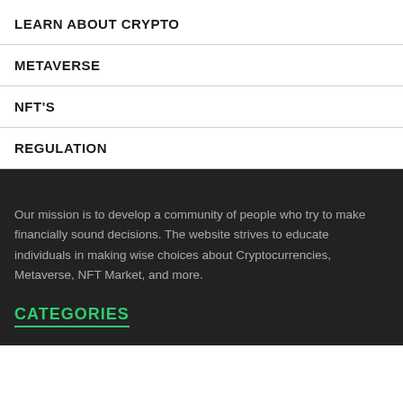LEARN ABOUT CRYPTO
METAVERSE
NFT'S
REGULATION
Our mission is to develop a community of people who try to make financially sound decisions. The website strives to educate individuals in making wise choices about Cryptocurrencies, Metaverse, NFT Market, and more.
CATEGORIES